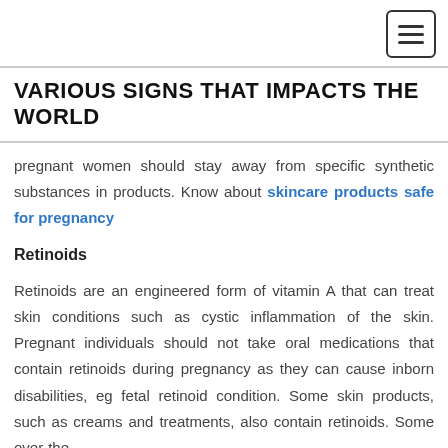VARIOUS SIGNS THAT IMPACTS THE WORLD
pregnant women should stay away from specific synthetic substances in products. Know about skincare products safe for pregnancy
Retinoids
Retinoids are an engineered form of vitamin A that can treat skin conditions such as cystic inflammation of the skin. Pregnant individuals should not take oral medications that contain retinoids during pregnancy as they can cause inborn disabilities, eg fetal retinoid condition. Some skin products, such as creams and treatments, also contain retinoids. Some over-the-